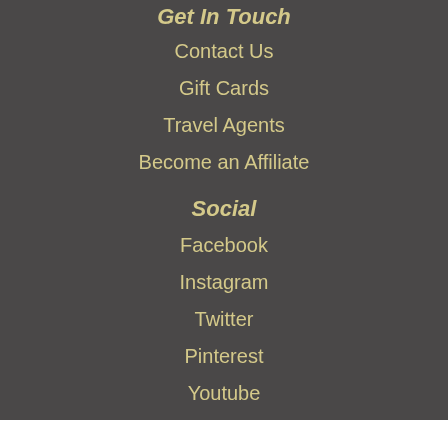Get In Touch
Contact Us
Gift Cards
Travel Agents
Become an Affiliate
Social
Facebook
Instagram
Twitter
Pinterest
Youtube